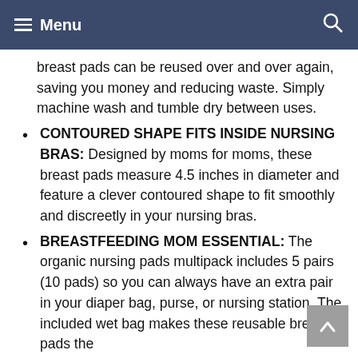≡ Menu
breast pads can be reused over and over again, saving you money and reducing waste. Simply machine wash and tumble dry between uses.
CONTOURED SHAPE FITS INSIDE NURSING BRAS: Designed by moms for moms, these breast pads measure 4.5 inches in diameter and feature a clever contoured shape to fit smoothly and discreetly in your nursing bras.
BREASTFEEDING MOM ESSENTIAL: The organic nursing pads multipack includes 5 pairs (10 pads) so you can always have an extra pair in your diaper bag, purse, or nursing station. The included wet bag makes these reusable breast pads the